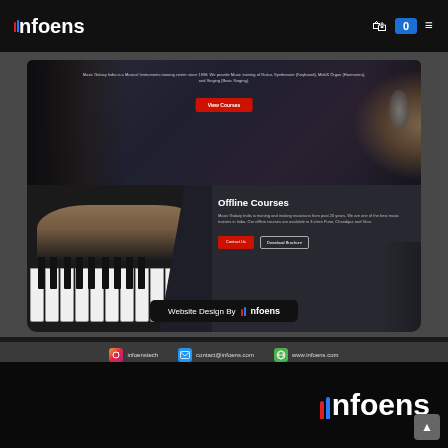Infoens - Navigation header with logo, cart (0), and menu icon
[Figure (screenshot): Screenshot of Music Galaxy India website showing hero section with 'View Courses' button and offline courses section with piano/keyboard image, 'Offline Courses' heading, description text, Contact Us and Download Brochure buttons]
Website Design By Infoens
infoenstech   contact@infoens.com   www.infoens.com
[Figure (logo): Infoens logo on black background - bottom section of page]